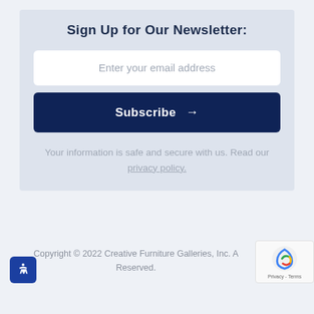Sign Up for Our Newsletter:
Enter your email address
Subscribe →
Your information is safe and secure with us. Read our privacy policy.
Copyright © 2022 Creative Furniture Galleries, Inc. All Rights Reserved.